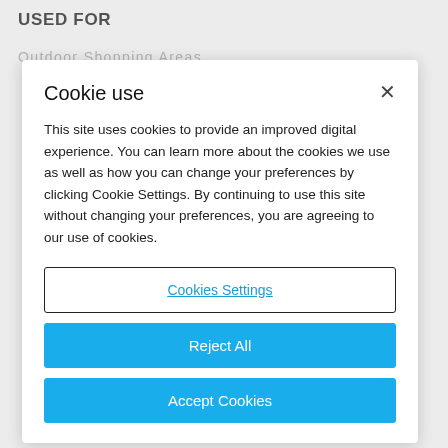USED FOR
Outdoor Shopping Areas
Cookie use
This site uses cookies to provide an improved digital experience. You can learn more about the cookies we use as well as how you can change your preferences by clicking Cookie Settings. By continuing to use this site without changing your preferences, you are agreeing to our use of cookies.
Cookies Settings
Reject All
Accept Cookies